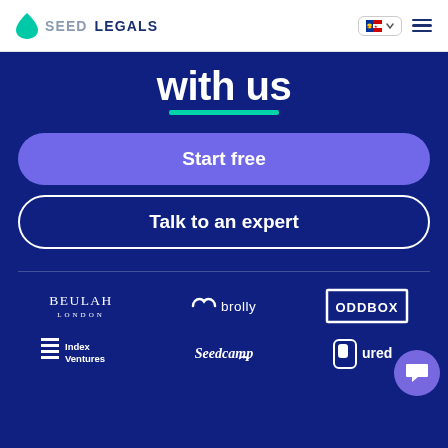[Figure (logo): SeedLegals logo with teal droplet icon and text SEEDLEGALS in grey/dark]
[Figure (screenshot): Navigation bar with flag/language selector and hamburger menu]
with us
Start free
Talk to an expert
[Figure (logo): BEULAH LONDON logo in white serif font]
[Figure (logo): brolly logo with heart icon in white]
[Figure (logo): ODDBOX logo in white block letters with border box]
[Figure (logo): Index Ventures logo with stacked lines icon in white]
[Figure (logo): Seedcamp logo in white script]
[Figure (logo): Cured logo in white with phone icon]